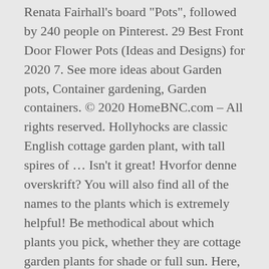Renata Fairhall's board "Pots", followed by 240 people on Pinterest. 29 Best Front Door Flower Pots (Ideas and Designs) for 2020 7. See more ideas about Garden pots, Container gardening, Garden containers. © 2020 HomeBNC.com – All rights reserved. Hollyhocks are classic English cottage garden plant, with tall spires of ... Isn't it great! Hvorfor denne overskrift? You will also find all of the names to the plants which is extremely helpful! Be methodical about which plants you pick, whether they are cottage garden plants for shade or full sun. Here, petunias, licorice plant, and verbena do the job perfectly. Home and Garden Pottery!. It is such a joy to add items that delight you in a